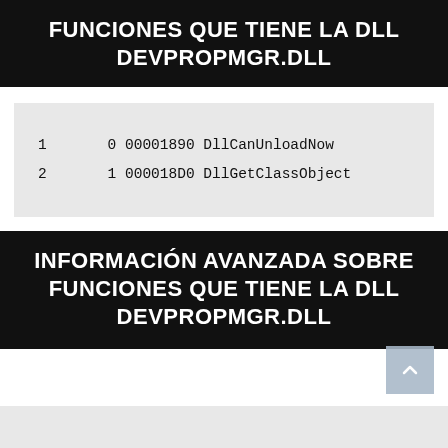FUNCIONES QUE TIENE LA DLL DEVPROPMGR.DLL
1       0 00001890 DllCanUnloadNow
2       1 000018D0 DllGetClassObject
INFORMACIÓN AVANZADA SOBRE FUNCIONES QUE TIENE LA DLL DEVPROPMGR.DLL